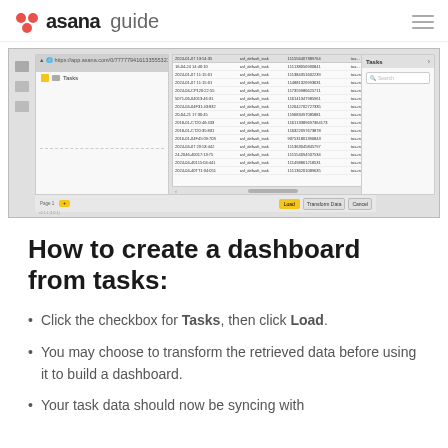asana guide
[Figure (screenshot): Screenshot of a Power BI or data import interface showing a file tree on the left with a Tasks checkbox selected, a data table in the center with multiple rows of data, and a Tasks panel on the right. Bottom buttons include Load, Transform Data, and Cancel.]
How to create a dashboard from tasks:
Click the checkbox for Tasks, then click Load.
You may choose to transform the retrieved data before using it to build a dashboard.
Your task data should now be syncing with